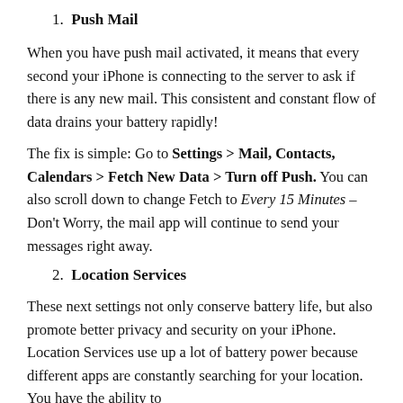1. Push Mail
When you have push mail activated, it means that every second your iPhone is connecting to the server to ask if there is any new mail. This consistent and constant flow of data drains your battery rapidly!
The fix is simple: Go to Settings > Mail, Contacts, Calendars > Fetch New Data > Turn off Push. You can also scroll down to change Fetch to Every 15 Minutes – Don't Worry, the mail app will continue to send your messages right away.
2. Location Services
These next settings not only conserve battery life, but also promote better privacy and security on your iPhone. Location Services use up a lot of battery power because different apps are constantly searching for your location. You have the ability to